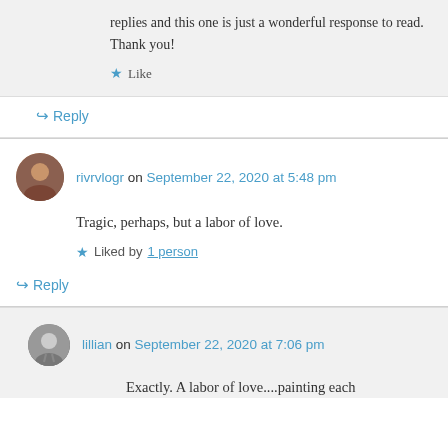replies and this one is just a wonderful response to read. Thank you!
★ Like
↪ Reply
rivrvlogr on September 22, 2020 at 5:48 pm
Tragic, perhaps, but a labor of love.
★ Liked by 1 person
↪ Reply
lillian on September 22, 2020 at 7:06 pm
Exactly. A labor of love....painting each